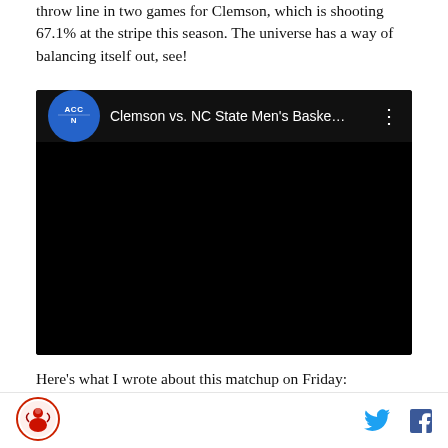throw line in two games for Clemson, which is shooting 67.1% at the stripe this season. The universe has a way of balancing itself out, see!
[Figure (screenshot): Embedded YouTube video player showing 'Clemson vs. NC State Men's Baske...' with ACCN logo, black video area, and three-dot menu]
Here's what I wrote about this matchup on Friday:
(blockquote beginning)